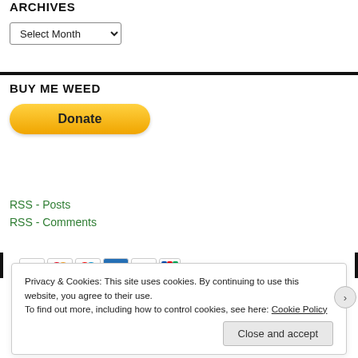ARCHIVES
Select Month
BUY ME WEED
[Figure (other): PayPal Donate button with yellow rounded rectangle and 'Donate' text, with payment card icons below (Visa, Mastercard, Mastercard, American Express, Discover, JCB)]
RSS - Posts
RSS - Comments
Privacy & Cookies: This site uses cookies. By continuing to use this website, you agree to their use.
To find out more, including how to control cookies, see here: Cookie Policy
Close and accept